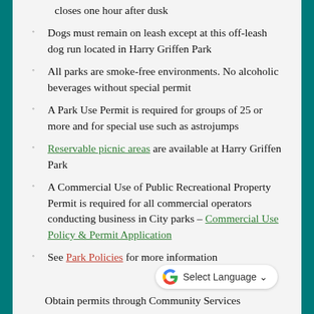closes one hour after dusk
Dogs must remain on leash except at this off-leash dog run located in Harry Griffen Park
All parks are smoke-free environments. No alcoholic beverages without special permit
A Park Use Permit is required for groups of 25 or more and for special use such as astrojumps
Reservable picnic areas are available at Harry Griffen Park
A Commercial Use of Public Recreational Property Permit is required for all commercial operators conducting business in City parks – Commercial Use Policy & Permit Application
See Park Policies for more information
Obtain permits through Community Services